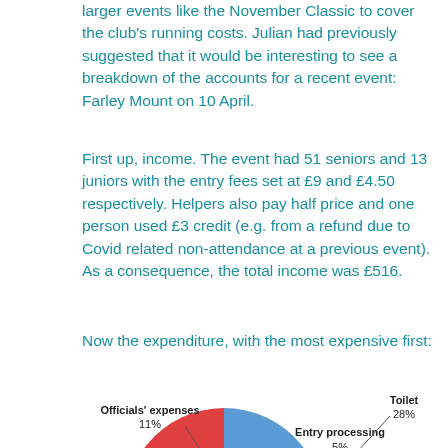larger events like the November Classic to cover the club's running costs. Julian had previously suggested that it would be interesting to see a breakdown of the accounts for a recent event: Farley Mount on 10 April.
First up, income. The event had 51 seniors and 13 juniors with the entry fees set at £9 and £4.50 respectively. Helpers also pay half price and one person used £3 credit (e.g. from a refund due to Covid related non-attendance at a previous event). As a consequence, the total income was £516.
Now the expenditure, with the most expensive first:
[Figure (pie-chart): Expenditure breakdown]